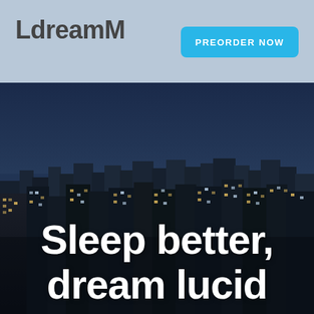LdreamM
PREORDER NOW
[Figure (photo): Aerial night cityscape of a city skyline with skyscrapers lit up against a dark blue twilight sky, with large white bold text overlay reading 'Sleep better, dream lucid']
Sleep better, dream lucid